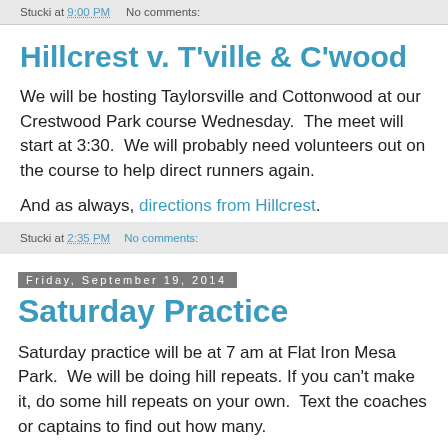Stucki at 9:00 PM   No comments:
Hillcrest v. T'ville & C'wood
We will be hosting Taylorsville and Cottonwood at our Crestwood Park course Wednesday.  The meet will start at 3:30.  We will probably need volunteers out on the course to help direct runners again.
And as always, directions from Hillcrest.
Stucki at 2:35 PM   No comments:
Friday, September 19, 2014
Saturday Practice
Saturday practice will be at 7 am at Flat Iron Mesa Park.  We will be doing hill repeats. If you can't make it, do some hill repeats on your own.  Text the coaches or captains to find out how many.